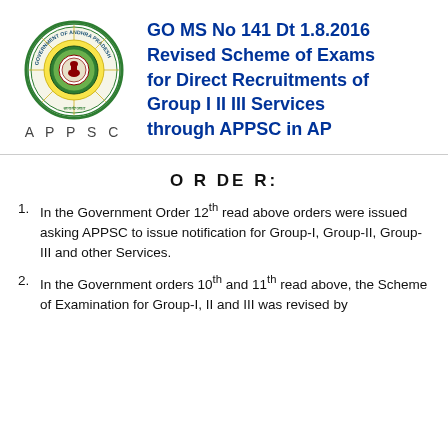[Figure (logo): APPSC Andhra Pradesh Government circular seal/emblem with Satyameva Jayate inscription]
GO MS No 141 Dt 1.8.2016 Revised Scheme of Exams for Direct Recruitments of Group I II III Services through APPSC in AP
O R DE R:
In the Government Order 12th read above orders were issued asking APPSC to issue notification for Group-I, Group-II, Group-III and other Services.
In the Government orders 10th and 11th read above, the Scheme of Examination for Group-I, II and III was revised by